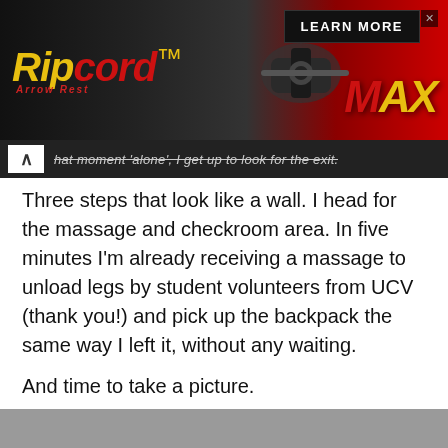[Figure (photo): Ripcord Arrow Rest MAX advertisement banner with red/black background, logo and 'LEARN MORE' button]
hat moment 'alone', I get up to look for the exit.
Three steps that look like a wall. I head for the massage and checkroom area. In five minutes I'm already receiving a massage to unload legs by student volunteers from UCV (thank you!) and pick up the backpack the same way I left it, without any waiting.
And time to take a picture.
[Figure (photo): Person smiling and looking at camera, wearing a black cap, inside what appears to be a building with grey walls and counter]